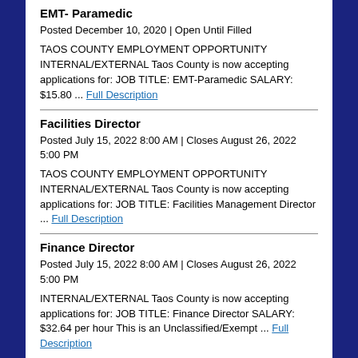EMT- Paramedic
Posted December 10, 2020 | Open Until Filled
TAOS COUNTY EMPLOYMENT OPPORTUNITY INTERNAL/EXTERNAL Taos County is now accepting applications for: JOB TITLE: EMT-Paramedic SALARY: $15.80 ... Full Description
Facilities Director
Posted July 15, 2022 8:00 AM | Closes August 26, 2022 5:00 PM
TAOS COUNTY EMPLOYMENT OPPORTUNITY INTERNAL/EXTERNAL Taos County is now accepting applications for: JOB TITLE: Facilities Management Director ... Full Description
Finance Director
Posted July 15, 2022 8:00 AM | Closes August 26, 2022 5:00 PM
INTERNAL/EXTERNAL Taos County is now accepting applications for: JOB TITLE: Finance Director SALARY: $32.64 per hour This is an Unclassified/Exempt ... Full Description